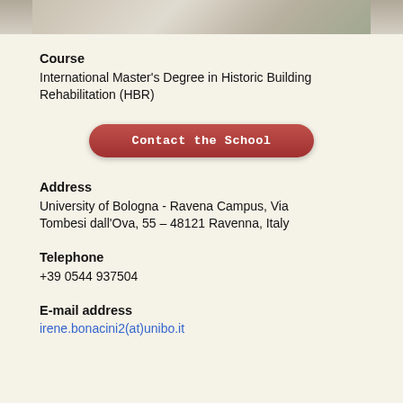[Figure (photo): Top portion of a building/campus photo, showing architectural elements, railings, and some greenery]
Course
International Master's Degree in Historic Building Rehabilitation (HBR)
[Figure (other): Red rounded button labeled 'Contact the School']
Address
University of Bologna - Ravena Campus, Via Tombesi dall'Ova, 55 – 48121 Ravenna, Italy
Telephone
+39 0544 937504
E-mail address
irene.bonacini2(at)unibo.it